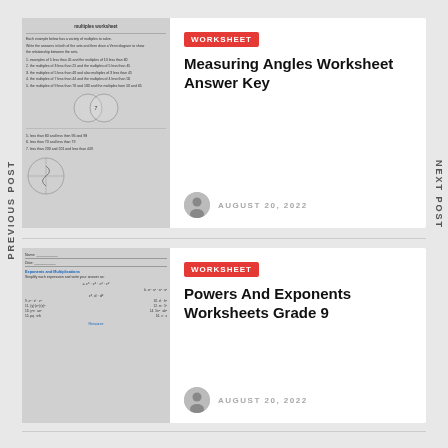PREVIOUS POST
NEXT POST
[Figure (screenshot): Thumbnail of a multiples worksheet with Venn diagram]
WORKSHEET
Measuring Angles Worksheet Answer Key
AUGUST 20, 2022
[Figure (screenshot): Thumbnail of a powers and exponents worksheet with formulas]
WORKSHEET
Powers And Exponents Worksheets Grade 9
AUGUST 20, 2022